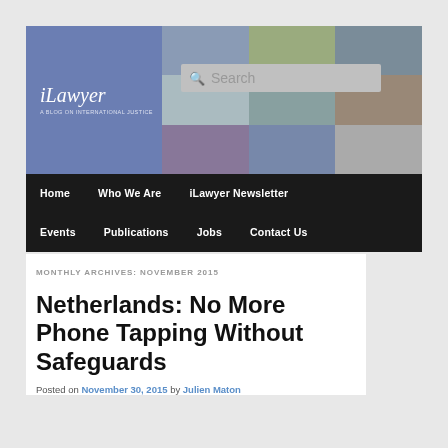[Figure (screenshot): iLawyer blog header banner with logo on blue/purple background and photo grid showing legal/international scenes. Includes a search box overlay.]
Home | Who We Are | iLawyer Newsletter | Events | Publications | Jobs | Contact Us
MONTHLY ARCHIVES: NOVEMBER 2015
Netherlands: No More Phone Tapping Without Safeguards
Posted on November 30, 2015 by Julien Maton